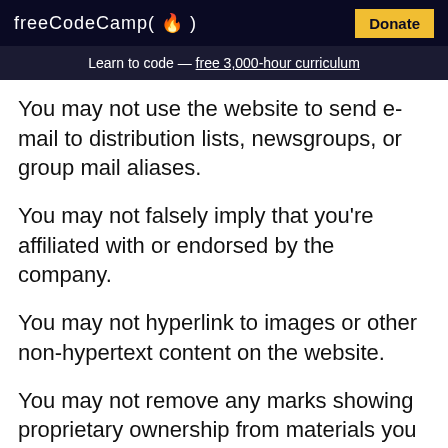freeCodeCamp(🔥) Donate
Learn to code — free 3,000-hour curriculum
You may not use the website to send e-mail to distribution lists, newsgroups, or group mail aliases.
You may not falsely imply that you're affiliated with or endorsed by the company.
You may not hyperlink to images or other non-hypertext content on the website.
You may not remove any marks showing proprietary ownership from materials you